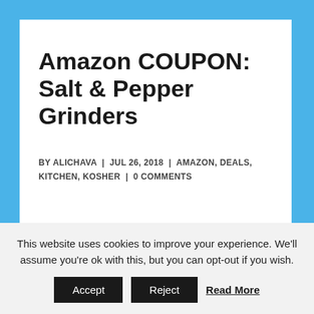Amazon COUPON: Salt & Pepper Grinders
BY ALICHAVA | JUL 26, 2018 | AMAZON, DEALS, KITCHEN, KOSHER | 0 COMMENTS
[Figure (photo): Two stainless steel salt and pepper grinders side by side]
This website uses cookies to improve your experience. We'll assume you're ok with this, but you can opt-out if you wish.